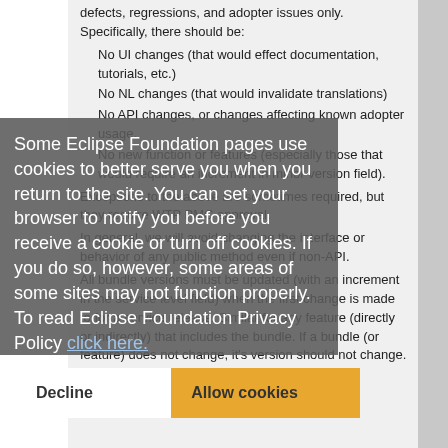defects, regressions, and adopter issues only. Specifically, there should be:
No UI changes (that would effect documentation, tutorials, etc.)
No NL changes (that would invalidate translations)
No API changes, or changes affecting known adopter usage.
No new function or features (especially those that would require an increment in minor version field).
Exceptions to the above are sometimes required, but they require WTP PMC approval.
In general, we will avoid changing the interface or behavior of any public method even if non-API.
All bundle versions must be updated (with an increment in the service level field) when the first change is made to for a service release. Similar for any feature (directly or indirectly) that includes the bundle. If a bundle (or feature) does not change, it's version should not change.
Some Eclipse Foundation pages use cookies to better serve you when you return to the site. You can set your browser to notify you before you receive a cookie or turn off cookies. If you do so, however, some areas of some sites may not function properly. To read Eclipse Foundation Privacy Policy click here.
Decline
Allow cookies